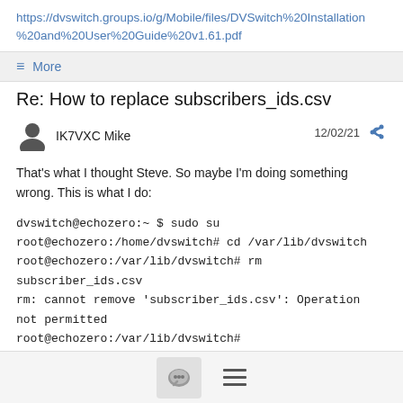https://dvswitch.groups.io/g/Mobile/files/DVSwitch%20Installation%20and%20User%20Guide%20v1.61.pdf
≡ More
Re: How to replace subscribers_ids.csv
IK7VXC Mike  12/02/21
That's what I thought Steve. So maybe I'm doing something wrong. This is what I do:
dvswitch@echozero:~ $ sudo su
root@echozero:/home/dvswitch# cd /var/lib/dvswitch
root@echozero:/var/lib/dvswitch# rm subscriber_ids.csv
rm: cannot remove 'subscriber_ids.csv': Operation not permitted
root@echozero:/var/lib/dvswitch#